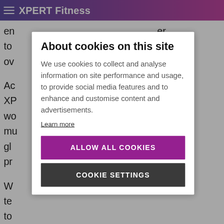XPERT Fitness
en ... er
to ...
ov ...
About cookies on this site
We use cookies to collect and analyse information on site performance and usage, to provide social media features and to enhance and customise content and advertisements.
Learn more
ALLOW ALL COOKIES
COOKIE SETTINGS
standardising the industry, with consistent content and regular updates mean that you can keep up to date with